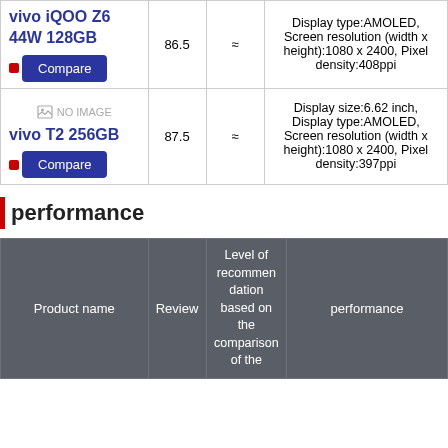| Product name | Review | Level | Details |
| --- | --- | --- | --- |
| vivo iQOO Z6 44W 128GB | 86.5 | ≈ | Display type:AMOLED, Screen resolution (width x height):1080 x 2400, Pixel density:408ppi |
| vivo T2 256GB | 87.5 | ≈ | Display size:6.62 inch, Display type:AMOLED, Screen resolution (width x height):1080 x 2400, Pixel density:397ppi |
performance
| Product name | Review | Level of recommendation based on the comparison of the difference | performance |
| --- | --- | --- | --- |